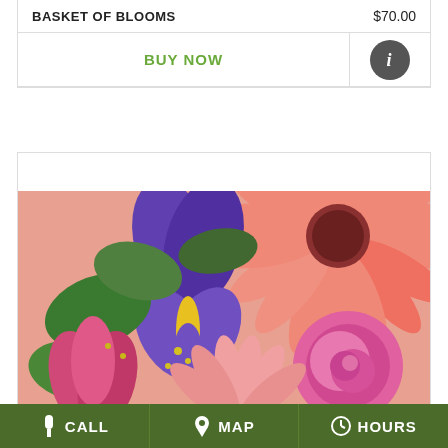BASKET OF BLOOMS    $70.00
BUY NOW
[Figure (photo): Close-up photograph of colorful flowers including purple iris, pink gerbera daisies, and pink roses arranged together]
BACK TO SCHOOL
CALL   MAP   HOURS